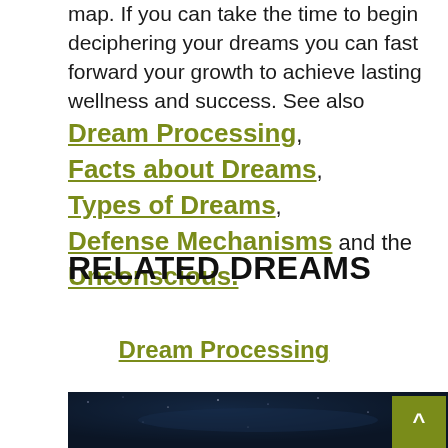map. If you can take the time to begin deciphering your dreams you can fast forward your growth to achieve lasting wellness and success. See also Dream Processing, Facts about Dreams, Types of Dreams, Defense Mechanisms and the Unconscious.
RELATED DREAMS
Dream Processing
[Figure (photo): Night sky photograph showing stars and dark blue sky, partial view]